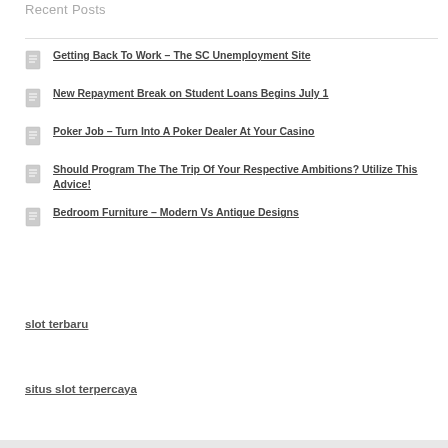Recent Posts
Getting Back To Work – The SC Unemployment Site
New Repayment Break on Student Loans Begins July 1
Poker Job – Turn Into A Poker Dealer At Your Casino
Should Program The The Trip Of Your Respective Ambitions? Utilize This Advice!
Bedroom Furniture – Modern Vs Antique Designs
slot terbaru
situs slot terpercaya